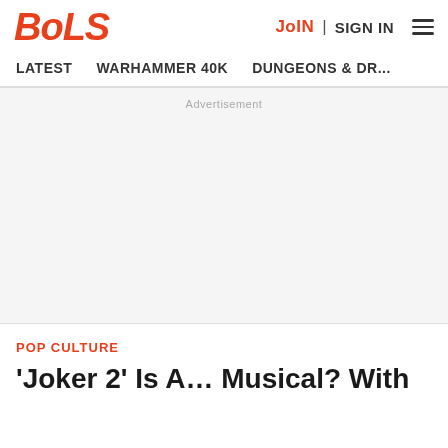BOLS | JOIN | SIGN IN
LATEST   WARHAMMER 40K   DUNGEONS & DR...
Advertisement
POP CULTURE
'Joker 2' Is A… Musical? With